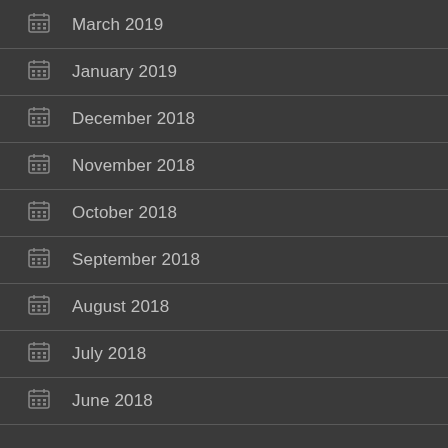March 2019
January 2019
December 2018
November 2018
October 2018
September 2018
August 2018
July 2018
June 2018